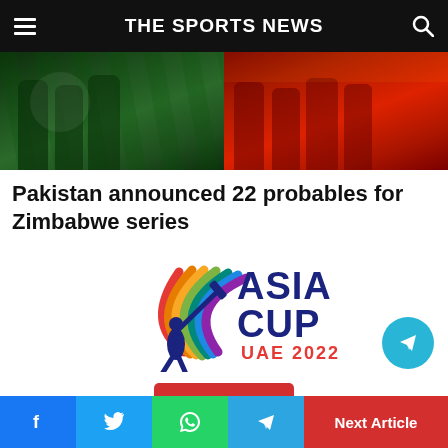THE SPORTS NEWS
[Figure (photo): Two cricket teams standing together, left team in green uniforms, right team in red uniforms]
Pakistan announced 22 probables for Zimbabwe series
[Figure (logo): Asia Cup UAE 2022 logo with colorful cricket bat swing arc and player silhouette]
f  Twitter  WhatsApp  Telegram  Next Article